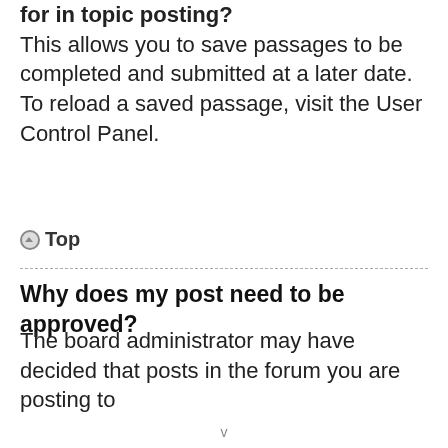for in topic posting? This allows you to save passages to be completed and submitted at a later date. To reload a saved passage, visit the User Control Panel.
⊙ Top
Why does my post need to be approved?
The board administrator may have decided that posts in the forum you are posting to
[Figure (infographic): Advertisement banner with dark forest background showing an orangutan. Text reads: Just $2 can protect 1 acre of irreplaceable forest homes in the Amazon. How many acres are you willing to protect? Button: PROTECT FORESTS NOW]
v